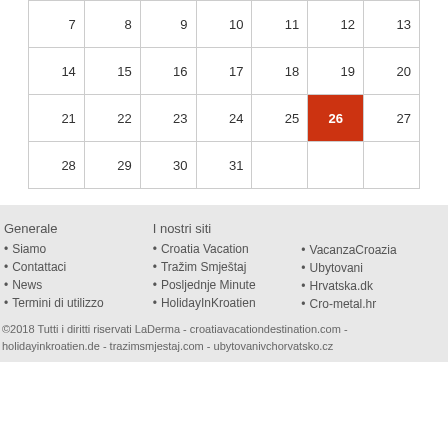| 7 | 8 | 9 | 10 | 11 | 12 | 13 |
| 14 | 15 | 16 | 17 | 18 | 19 | 20 |
| 21 | 22 | 23 | 24 | 25 | 26 | 27 |
| 28 | 29 | 30 | 31 |  |  |  |
Generale
Siamo
Contattaci
News
Termini di utilizzo
I nostri siti
Croatia Vacation
Tražim Smještaj
Posljednje Minute
HolidayInKroatien
VacanzaCroazia
Ubytovani
Hrvatska.dk
Cro-metal.hr
©2018 Tutti i diritti riservati LaDerma - croatiavacationdestination.com - holidayinkroatien.de - trazimsmjestaj.com - ubytovanivchorvatsko.cz